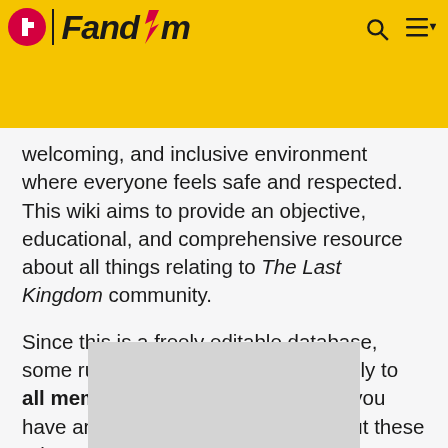Fandom
welcoming, and inclusive environment where everyone feels safe and respected. This wiki aims to provide an objective, educational, and comprehensive resource about all things relating to The Last Kingdom community.
Since this is a freely editable database, some rules have been created to apply to all members of this community. If you have any questions or concerns about these rules, please do not hesitate to reach out to an administrator.
[Figure (other): Grey placeholder rectangle at bottom of page]